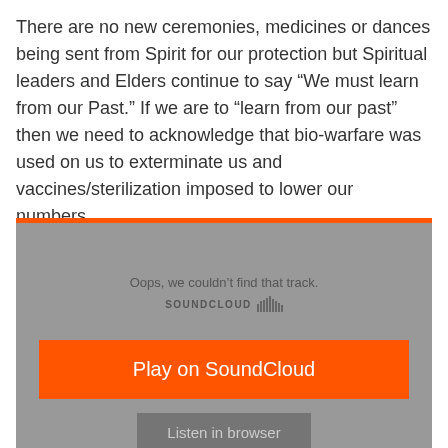There are no new ceremonies, medicines or dances being sent from Spirit for our protection but Spiritual leaders and Elders continue to say “We must learn from our Past.” If we are to “learn from our past” then we need to acknowledge that bio-warfare was used on us to exterminate us and vaccines/sterilization imposed to lower our numbers.
[Figure (screenshot): SoundCloud embedded player showing an error state: 'Oops, we couldn't find that track.' with SOUNDCLOUD logo, an orange 'Play on SoundCloud' button, and a grey 'Listen in browser' button.]